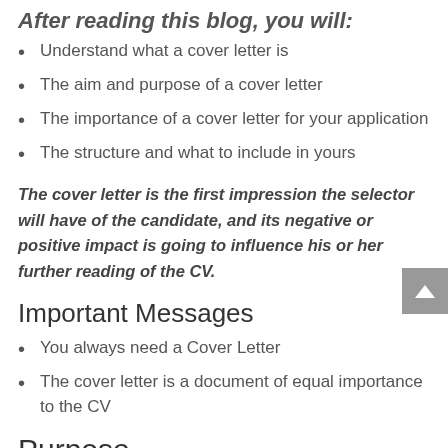After reading this blog, you will:
Understand what a cover letter is
The aim and purpose of a cover letter
The importance of a cover letter for your application
The structure and what to include in yours
The cover letter is the first impression the selector will have of the candidate, and its negative or positive impact is going to influence his or her further reading of the CV.
Important Messages
You always need a Cover Letter
The cover letter is a document of equal importance to the CV
Purpose